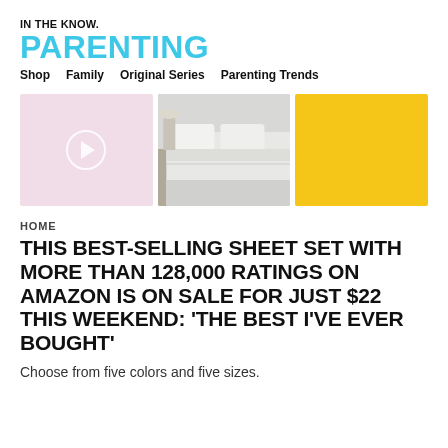IN THE KNOW.
PARENTING
Shop   Family   Original Series   Parenting Trends
[Figure (photo): Three images side by side: a pink rectangle with a play button icon, a photo of white bed sheets on a bed with a nightstand and lamp, and a solid yellow rectangle.]
HOME
THIS BEST-SELLING SHEET SET WITH MORE THAN 128,000 RATINGS ON AMAZON IS ON SALE FOR JUST $22 THIS WEEKEND: ‘THE BEST I’VE EVER BOUGHT’
Choose from five colors and five sizes.